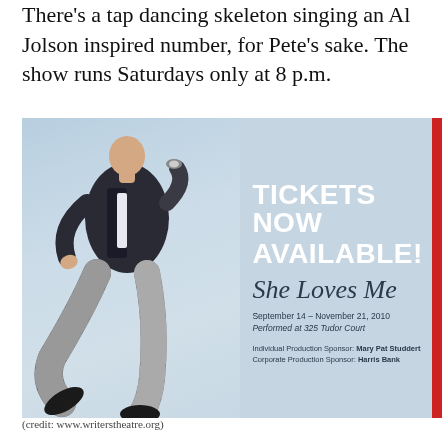There's a tap dancing skeleton singing an Al Jolson inspired number, for Pete's sake. The show runs Saturdays only at 8 p.m.
[Figure (photo): Advertisement image for the musical 'She Loves Me' at Writers Theatre. Shows a person in a checkered suit kicking their leg (dancing) against a light blue background. Text reads 'TICKETS NOW AVAILABLE! She Loves Me. September 14 – November 21, 2010. Performed at 325 Tudor Court. Individual Production Sponsor: Mary Pat Studdert. Corporate Production Sponsor: Harris Bank.']
(credit: www.writerstheatre.org)